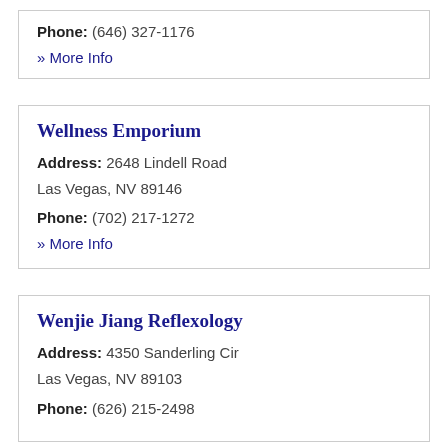Phone: (646) 327-1176
» More Info
Wellness Emporium
Address: 2648 Lindell Road
Las Vegas, NV 89146
Phone: (702) 217-1272
» More Info
Wenjie Jiang Reflexology
Address: 4350 Sanderling Cir
Las Vegas, NV 89103
Phone: (626) 215-2498